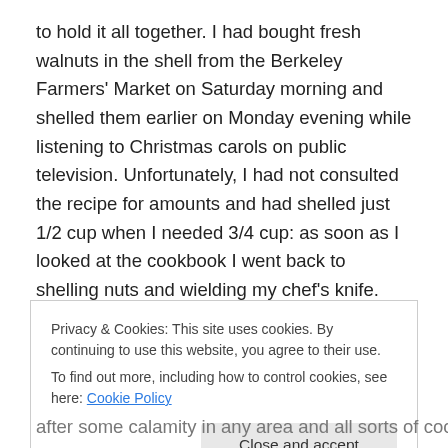to hold it all together. I had bought fresh walnuts in the shell from the Berkeley Farmers' Market on Saturday morning and shelled them earlier on Monday evening while listening to Christmas carols on public television. Unfortunately, I had not consulted the recipe for amounts and had shelled just 1/2 cup when I needed 3/4 cup: as soon as I looked at the cookbook I went back to shelling nuts and wielding my chef's knife.
It was an all-cookie Christmas this year, supplemented only with batches of Betsy's delicious Italian Glazed
Privacy & Cookies: This site uses cookies. By continuing to use this website, you agree to their use.
To find out more, including how to control cookies, see here: Cookie Policy
[Close and accept]
after some calamity in any area and all sorts of cookie baking